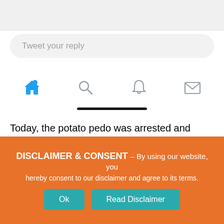[Figure (screenshot): Top gray bar from a mobile Twitter/X interface showing grey background area]
Tweet your reply
[Figure (screenshot): Twitter/X mobile navigation bar with home (blue), search, notifications, and messages icons]
Today, the potato pedo was arrested and charged with two counts of mischief and one count of uttering threats. Apparently this didn't sit well with His Royal Fatness and he's launched a second Canadian Human Rights Complaint against the Langley RCMP. This
DISCLAIMER & CONSENT - By using our website, you hereby consent to our disclaimer and agree to its terms.